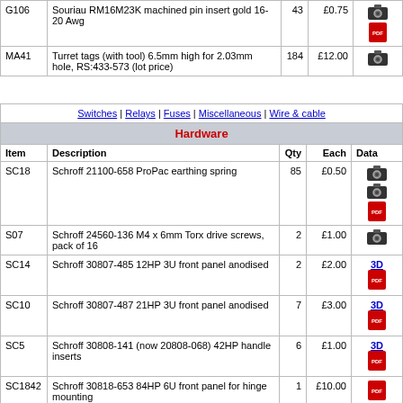| Item | Description | Qty | Each | Data |
| --- | --- | --- | --- | --- |
| G106 | Souriau RM16M23K machined pin insert gold 16-20 Awg | 43 | £0.75 | [cam][pdf] |
| MA41 | Turret tags (with tool) 6.5mm high for 2.03mm hole, RS:433-573 (lot price) | 184 | £12.00 | [cam] |
| Switches | Relays | Fuses | Miscellaneous | Wire & cable | Hardware | Item | Description | Qty | Each | Data |
| --- | --- | --- | --- | --- | --- | --- |
| SC18 | Schroff 21100-658 ProPac earthing spring | 85 | £0.50 | [cam][cam][pdf] |
| S07 | Schroff 24560-136 M4 x 6mm Torx drive screws, pack of 16 | 2 | £1.00 | [cam] |
| SC14 | Schroff 30807-485 12HP 3U front panel anodised | 2 | £2.00 | 3D [pdf] |
| SC10 | Schroff 30807-487 21HP 3U front panel anodised | 7 | £3.00 | 3D [pdf] |
| SC5 | Schroff 30808-141 (now 20808-068) 42HP handle inserts | 6 | £1.00 | 3D [pdf] |
| SC1842 | Schroff 30818-653 84HP 6U front panel for hinge mounting | 1 | £10.00 | [pdf] |
| SC13 | Schroff 30819-046 (now 30822-047) EuroPac 42HP horizontal rail with Z for DIN41612 connectors anodised, RS:258-2201 | 6 | £4.50 | 3D [pdf] |